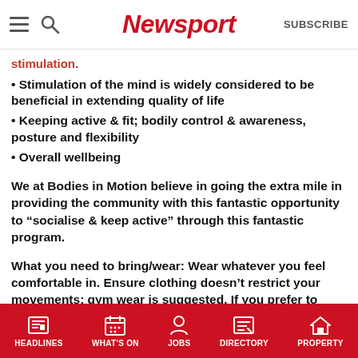Newsport | SUBSCRIBE
stimulation.
Stimulation of the mind is widely considered to be beneficial in extending quality of life
Keeping active & fit; bodily control & awareness, posture and flexibility
Overall wellbeing
We at Bodies in Motion believe in going the extra mile in providing the community with this fantastic opportunity to “socialise & keep active” through this fantastic program.
What you need to bring/wear: Wear whatever you feel comfortable in. Ensure clothing doesn’t restrict your movements; gym wear is suggested. If you prefer to wear ballet attire, a leotard and wrap ballet skirt is fine and can be purchased through the office! We have water coolers but please bring your own water bottle to take into class
HEADLINES | WHAT'S ON | JOBS | DIRECTORY | PROPERTY